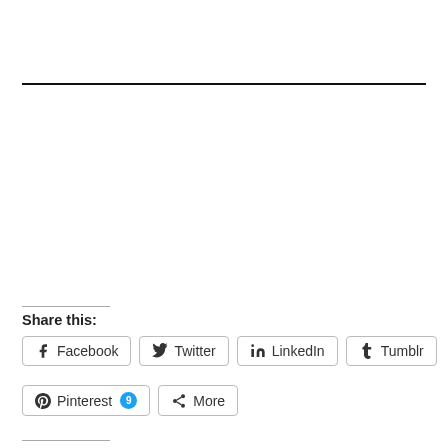Share this:
Facebook
Twitter
LinkedIn
Tumblr
Pinterest 9
More